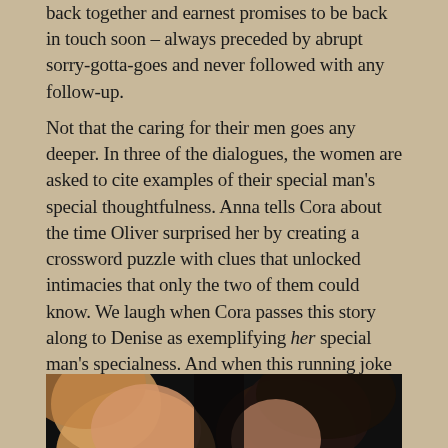back together and earnest promises to be back in touch soon – always preceded by abrupt sorry-gotta-goes and never followed with any follow-up.
Not that the caring for their men goes any deeper. In three of the dialogues, the women are asked to cite examples of their special man's special thoughtfulness. Anna tells Cora about the time Oliver surprised her by creating a crossword puzzle with clues that unlocked intimacies that only the two of them could know. We laugh when Cora passes this story along to Denise as exemplifying her special man's specialness. And when this running joke completes its cycle after a number of years, when Denise gets back together we're a little surprised that Anna has little reaction – and no recognition – when her sister tells the crossword tale.
[Figure (photo): Bottom portion of a photo showing two women's faces, one with blonde/light hair on the left and one with dark hair on the right, against a dark background.]